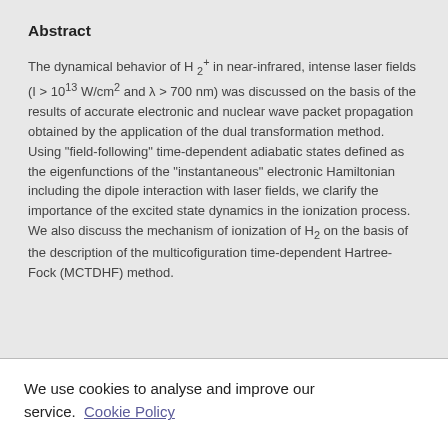Abstract
The dynamical behavior of H₂⁺ in near-infrared, intense laser fields (I > 10¹³ W/cm² and λ > 700 nm) was discussed on the basis of the results of accurate electronic and nuclear wave packet propagation obtained by the application of the dual transformation method. Using "field-following" time-dependent adiabatic states defined as the eigenfunctions of the "instantaneous" electronic Hamiltonian including the dipole interaction with laser fields, we clarify the importance of the excited state dynamics in the ionization process. We also discuss the mechanism of ionization of H₂ on the basis of the description of the multicofiguration time-dependent Hartree-Fock (MCTDHF) method.
We use cookies to analyse and improve our service. Cookie Policy